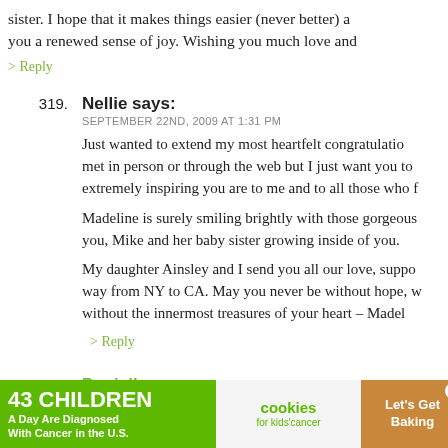sister. I hope that it makes things easier (never better) and brings you a renewed sense of joy. Wishing you much love and
> Reply
319. Nellie says: SEPTEMBER 22ND, 2009 AT 1:31 PM
Just wanted to extend my most heartfelt congratulations. We've never met in person or through the web but I just want you to know how extremely inspiring you are to me and to all those who follow you.
Madeline is surely smiling brightly with those gorgeous eyes watching you, Mike and her baby sister growing inside of you.
My daughter Ainsley and I send you all our love, support and prayers all the way from NY to CA. May you never be without hope, without love, or without the innermost treasures of your heart – Madel
> Reply
320. Danielle says: SEPTEMBER 22ND, 2009 AT 1:31 PM
[Figure (infographic): Advertisement banner: '43 CHILDREN A Day Are Diagnosed With Cancer in the U.S.' with cookies for kids cancer and Let's Get Baking logos]